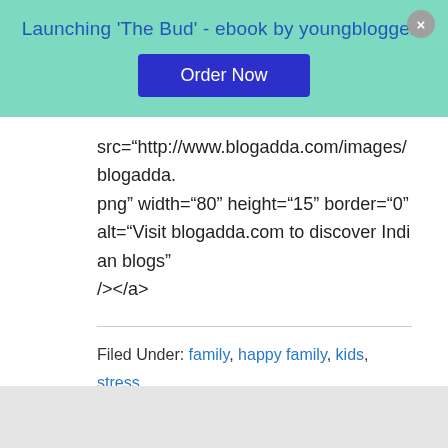[Figure (other): Promotional banner with teal background. Title: Launching 'The Bud' - ebook by youngbloggers. Blue 'Order Now' button. Gray close button top right.]
src="http://www.blogadda.com/images/blogadda.png" width="80" height="15" border="0" alt="Visit blogadda.com to discover Indian blogs" /></a>
Filed Under: family, happy family, kids, stress, Uncategorized, women, work life balance
Tagged With: happy mom, life, mothers, working mothers